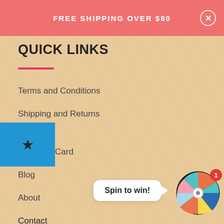FREE SHIPPING OVER $80
QUICK LINKS
Terms and Conditions
Shipping and Returns
Card
Blog
About
Contact
Terms of Service
Refund policy
[Figure (other): Spin to win promotional wheel with colorful segments and a speech bubble saying 'Spin to win!']
[Figure (other): White circular gift icon button with red badge showing number 2]